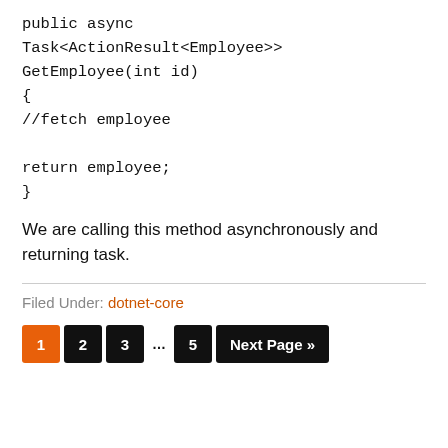public async Task<ActionResult<Employee>> GetEmployee(int id)
{
//fetch employee

return employee;
}
We are calling this method asynchronously and returning task.
Filed Under: dotnet-core
1 2 3 … 5 Next Page »